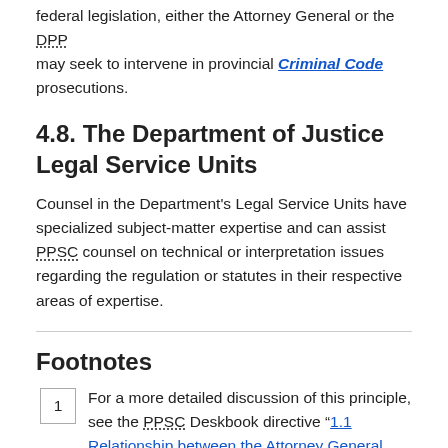federal legislation, either the Attorney General or the DPP may seek to intervene in provincial Criminal Code prosecutions.
4.8. The Department of Justice Legal Service Units
Counsel in the Department's Legal Service Units have specialized subject-matter expertise and can assist PPSC counsel on technical or interpretation issues regarding the regulation or statutes in their respective areas of expertise.
Footnotes
1  For a more detailed discussion of this principle, see the PPSC Deskbook directive “1.1 Relationship between the Attorney General and the Director of Public Prosecutions” and the